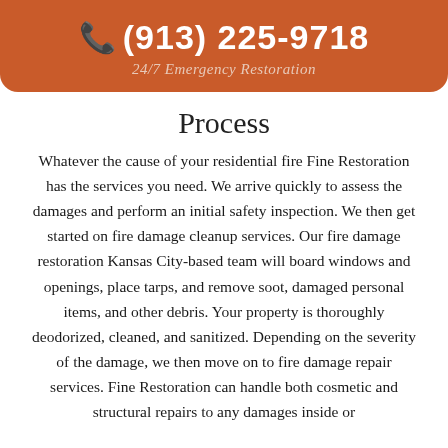(913) 225-9718 24/7 Emergency Restoration
Process
Whatever the cause of your residential fire Fine Restoration has the services you need. We arrive quickly to assess the damages and perform an initial safety inspection. We then get started on fire damage cleanup services. Our fire damage restoration Kansas City-based team will board windows and openings, place tarps, and remove soot, damaged personal items, and other debris. Your property is thoroughly deodorized, cleaned, and sanitized. Depending on the severity of the damage, we then move on to fire damage repair services. Fine Restoration can handle both cosmetic and structural repairs to any damages inside or